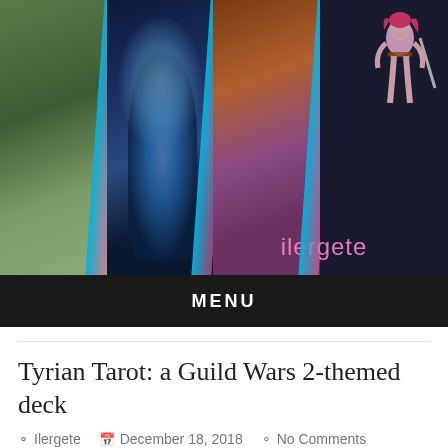[Figure (photo): Blog header banner showing four cosplay photos side by side with diagonal dividers and the blog logo 'ilergete' with a fantasy character illustration on dark background]
MENU
Tyrian Tarot: a Guild Wars 2-themed deck
ilergete  December 18, 2018  No Comments
Heya! It's my first text entry on this blog, so, while I'm creating my next cosplay, I wanna show you one of the most recent contributions to a game I love – a tarot deck based on the Guild Wars universe, the Tyrian Tarot.